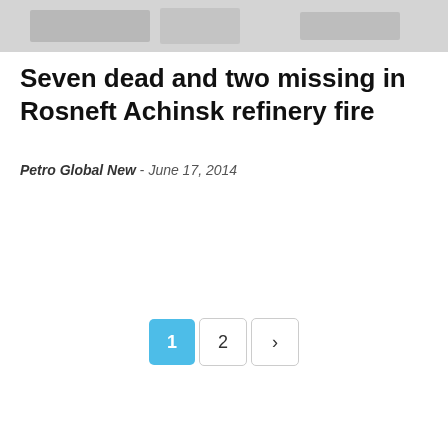[Figure (photo): Grayscale banner image at top of page]
Seven dead and two missing in Rosneft Achinsk refinery fire
Petro Global New - June 17, 2014
Pagination: 1 2 >
Most Popular Today
BLM fast tracks Wyoming drilling permits
Energy XXI may seek bankruptcy protection next week
Flowserve taps former Cameron exec R. Scott Rowe